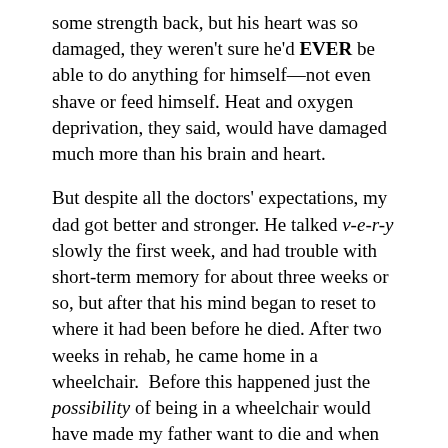some strength back, but his heart was so damaged, they weren't sure he'd EVER be able to do anything for himself—not even shave or feed himself. Heat and oxygen deprivation, they said, would have damaged much more than his brain and heart.
But despite all the doctors' expectations, my dad got better and stronger. He talked v-e-r-y slowly the first week, and had trouble with short-term memory for about three weeks or so, but after that his mind began to reset to where it had been before he died. After two weeks in rehab, he came home in a wheelchair.  Before this happened just the possibility of being in a wheelchair would have made my father want to die and when he first came home, he was very distressed over it.  But within a couple of weeks of being home, he started walking around the house, then around his yard, then mowing his lawn on his riding mower, cleaning his pool, and then going to Walmart and shopping with